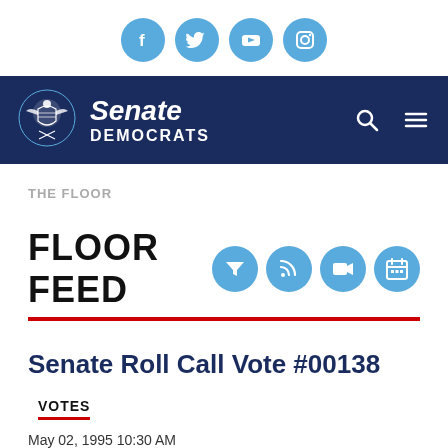[Figure (other): Social media icon circles: Facebook, Twitter, YouTube, Instagram]
Senate Democrats navigation bar with logo, search and menu icons
THE FLOOR
FLOOR FEED
[Figure (other): Filter, RSS, video, and calendar icon circles]
Senate Roll Call Vote #00138
VOTES
May 02, 1995 10:30 AM